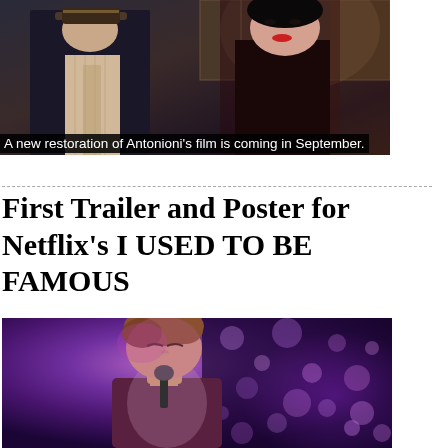[Figure (photo): Still from Antonioni's film showing two people, a man in a suit with hat and a woman in dark clothing with red lips, in a dark cinematic scene]
A new restoration of Antonioni's film is coming in September.
First Trailer and Poster for Netflix's I USED TO BE FAMOUS
[Figure (photo): A man singing into a microphone on stage, lit by purple and pink stage lighting with bokeh background lights]